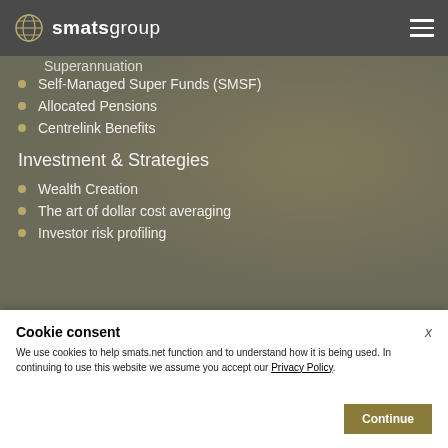smatsgroup
Superannuation (partial)
Self-Managed Super Funds (SMSF)
Allocated Pensions
Centrelink Benefits
Investment & Strategies
Wealth Creation
The art of dollar cost averaging
Investor risk profiling
Cookie consent
We use cookies to help smats.net function and to understand how it is being used. In continuing to use this website we assume you accept our Privacy Policy.